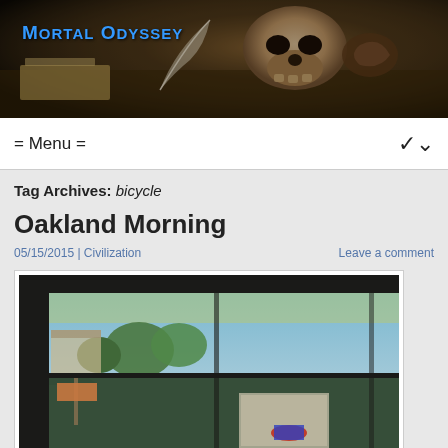[Figure (photo): Website header banner showing a dark still-life painting with a skull, feather, and books on a table]
Mortal Odyssey
= Menu =
Tag Archives: bicycle
Oakland Morning
05/15/2015 | Civilization   Leave a comment
[Figure (photo): Photo of an Oakland transit shelter/bus stop viewed from inside a vehicle, showing trees, street scenes and a map display panel through the shelter glass]